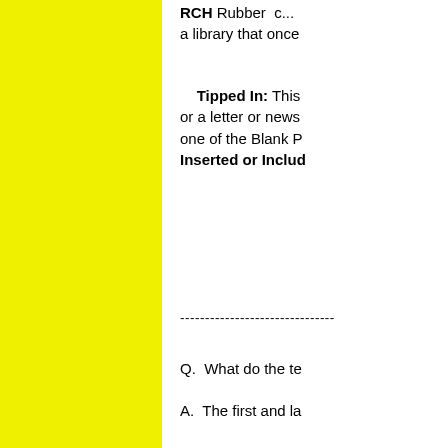[Figure (other): Large yellow rectangle filling the left portion of the page]
RCH  Rubber... a library that once
Tipped In: This ... or a letter or news... one of the Blank P... Inserted or Includ
-----------------------------------
Q.  What do the te
A.  The first and la
[Figure (illustration): Diagram of a book spine showing labeled parts: Head of spine (top), Backstrip (middle area), with a book titled 'T.E. LAWRENCE SEVEN PILLARS OF WISDOM' visible. A partial label starting with J is cut off at right.]